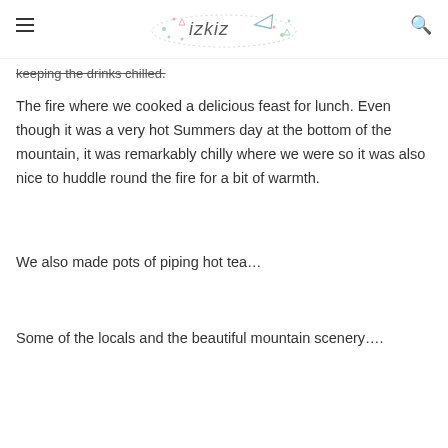izkiz
keeping the drinks chilled.
The fire where we cooked a delicious feast for lunch. Even though it was a very hot Summers day at the bottom of the mountain, it was remarkably chilly where we were so it was also nice to huddle round the fire for a bit of warmth.
We also made pots of piping hot tea…
Some of the locals and the beautiful mountain scenery….